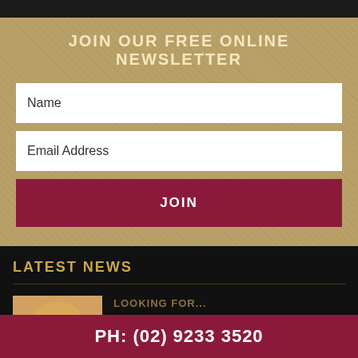JOIN OUR FREE ONLINE NEWSLETTER
Name
Email Address
JOIN
LATEST NEWS
LOOKING FOR...
Choosing to propose to your loved one can...
read more
PH: (02) 9233 3520